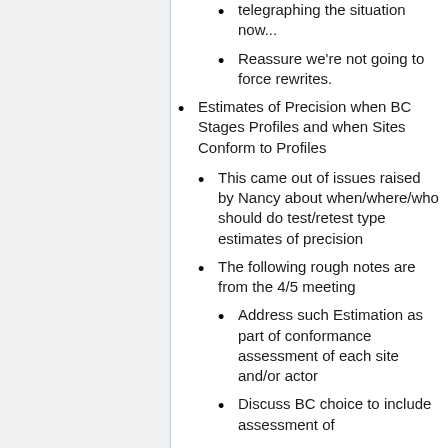telegraphing the situation now...
Reassure we're not going to force rewrites.
Estimates of Precision when BC Stages Profiles and when Sites Conform to Profiles
This came out of issues raised by Nancy about when/where/who should do test/retest type estimates of precision
The following rough notes are from the 4/5 meeting
Address such Estimation as part of conformance assessment of each site and/or actor
Discuss BC choice to include assessment of